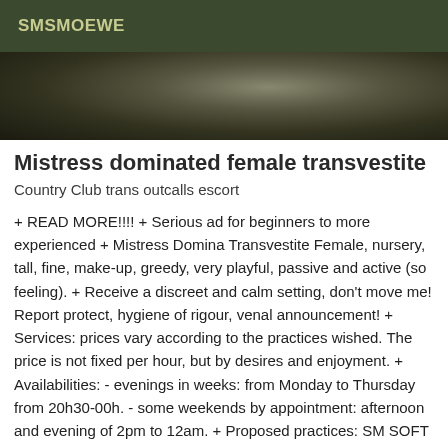SMSMOEWE
[Figure (photo): Dark photograph, partially visible, showing dark tones]
Mistress dominated female transvestite
Country Club trans outcalls escort
+ READ MORE!!!! + Serious ad for beginners to more experienced + Mistress Domina Transvestite Female, nursery, tall, fine, make-up, greedy, very playful, passive and active (so feeling). + Receive a discreet and calm setting, don't move me! Report protect, hygiene of rigour, venal announcement! + Services: prices vary according to the practices wished. The price is not fixed per hour, but by desires and enjoyment. + Availabilities: - evenings in weeks: from Monday to Thursday from 20h30-00h. - some weekends by appointment: afternoon and evening of 2pm to 12am. + Proposed practices: SM SOFT to HARD, *, sucking (deepthroat), *, dildos, plugs, bondages, riding crop, paddle, whip, blindfolded, Raw